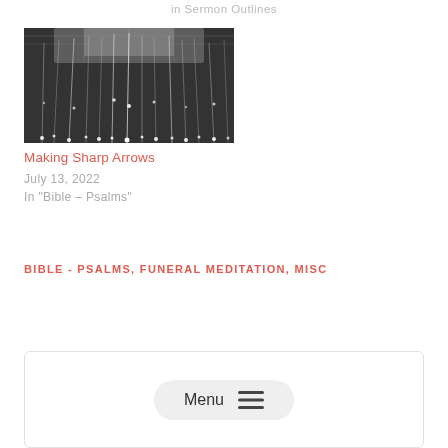in  Sermon Outlines
[Figure (photo): Black and white photo of hanging lights or fiber optics viewed from below]
Making Sharp Arrows
July 13, 2022
In "Bible – Psalms"
BIBLE - PSALMS, FUNERAL MEDITATION, MISC
Menu ☰